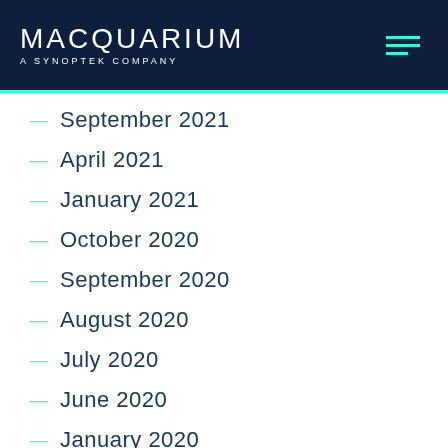MACQUARIUM — A SYNOPTEK COMPANY
September 2021
April 2021
January 2021
October 2020
September 2020
August 2020
July 2020
June 2020
January 2020
December 2019
August 2019
May 2019
April 2019